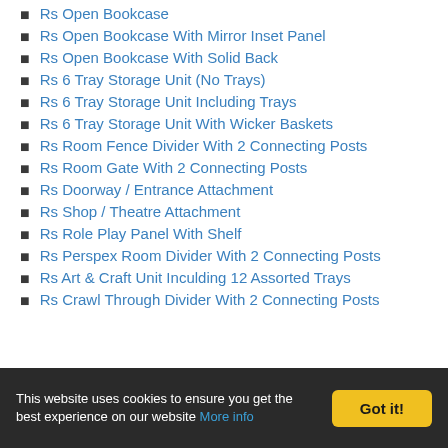Rs Open Bookcase
Rs Open Bookcase With Mirror Inset Panel
Rs Open Bookcase With Solid Back
Rs 6 Tray Storage Unit (No Trays)
Rs 6 Tray Storage Unit Including Trays
Rs 6 Tray Storage Unit With Wicker Baskets
Rs Room Fence Divider With 2 Connecting Posts
Rs Room Gate With 2 Connecting Posts
Rs Doorway / Entrance Attachment
Rs Shop / Theatre Attachment
Rs Role Play Panel With Shelf
Rs Perspex Room Divider With 2 Connecting Posts
Rs Art & Craft Unit Inculding 12 Assorted Trays
Rs Crawl Through Divider With 2 Connecting Posts
This website uses cookies to ensure you get the best experience on our website More info  Got it!